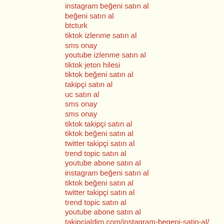instagram beğeni satın al
beğeni satın al
btcturk
tiktok izlenme satın al
sms onay
youtube izlenme satın al
tiktok jeton hilesi
tiktok beğeni satın al
takipçi satın al
uc satın al
sms onay
sms onay
tiktok takipçi satın al
tiktok beğeni satın al
twitter takipçi satın al
trend topic satın al
youtube abone satın al
instagram beğeni satın al
tiktok beğeni satın al
twitter takipçi satın al
trend topic satın al
youtube abone satın al
takipcialdim.com/instagram-begeni-satin-al/